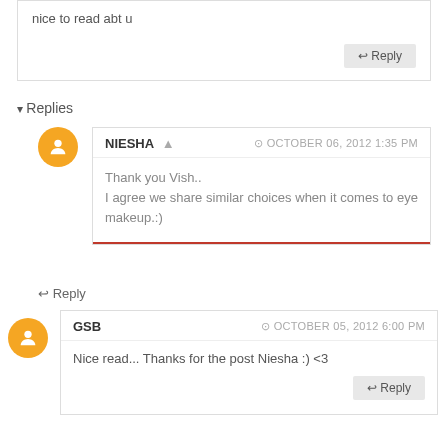nice to read abt u
Reply
▾ Replies
NIESHA  ⊙ OCTOBER 06, 2012 1:35 PM
Thank you Vish..
I agree we share similar choices when it comes to eye makeup.:)
Reply
GSB  ⊙ OCTOBER 05, 2012 6:00 PM
Nice read... Thanks for the post Niesha :) <3
Reply